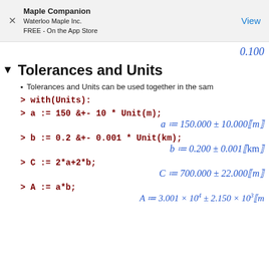Maple Companion
Waterloo Maple Inc.
FREE - On the App Store
0.100
Tolerances and Units
Tolerances and Units can be used together in the sam